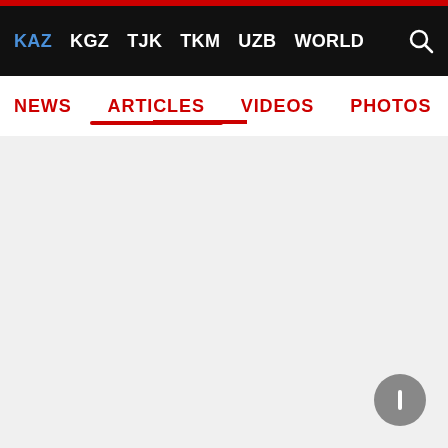KAZ KGZ TJK TKM UZB WORLD
NEWS ARTICLES VIDEOS PHOTOS